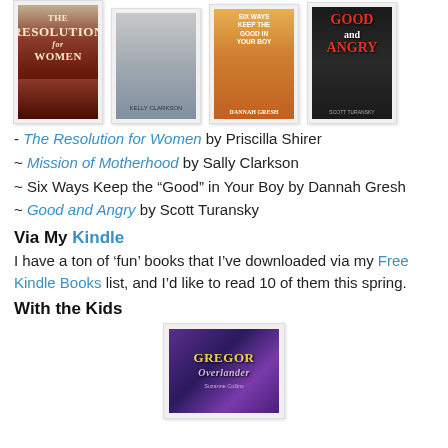[Figure (photo): Four book covers displayed in a row: The Resolution for Women, Mission of Motherhood, Six Ways Keep the Good in Your Boy, Good and Angry]
- The Resolution for Women by Priscilla Shirer
~ Mission of Motherhood by Sally Clarkson
~ Six Ways Keep the “Good” in Your Boy by Dannah Gresh
~ Good and Angry by Scott Turansky
Via My Kindle
I have a ton of ‘fun’ books that I’ve downloaded via my Free Kindle Books list, and I’d like to read 10 of them this spring.
With the Kids
[Figure (photo): Book cover: Gregor the Overlander, purple/fantasy style cover]